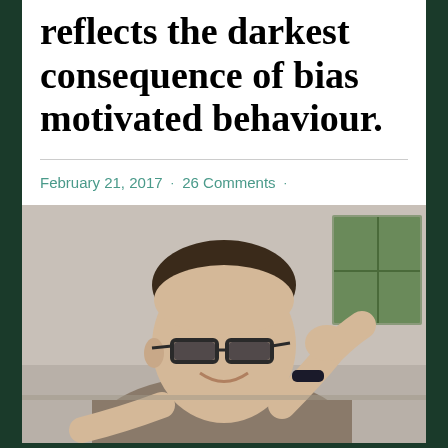reflects the darkest consequence of bias motivated behaviour.
February 21, 2017 · 26 Comments ·
[Figure (photo): A young person wearing dark-rimmed glasses and a gray t-shirt, smiling with hand raised near their head, wearing a dark wristband. Background shows a wall and window.]